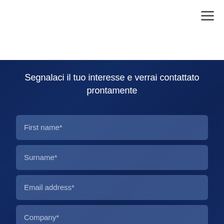[Figure (other): Hamburger menu icon (three horizontal lines) in top-right of white header bar]
Segnalaci il tuo interesse e verrai contattato prontamente
First name*
Surname*
Email address*
Company*
+44